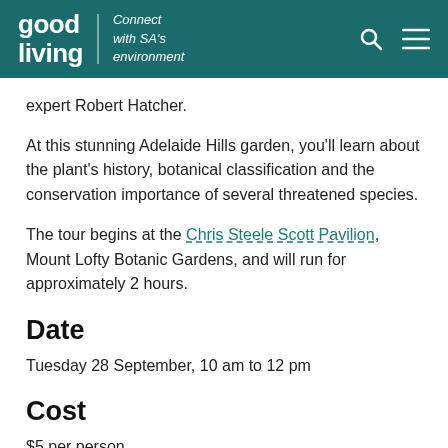good living | Connect with SA's environment
expert Robert Hatcher.
At this stunning Adelaide Hills garden, you'll learn about the plant's history, botanical classification and the conservation importance of several threatened species.
The tour begins at the Chris Steele Scott Pavilion, Mount Lofty Botanic Gardens, and will run for approximately 2 hours.
Date
Tuesday 28 September, 10 am to 12 pm
Cost
$5 per person